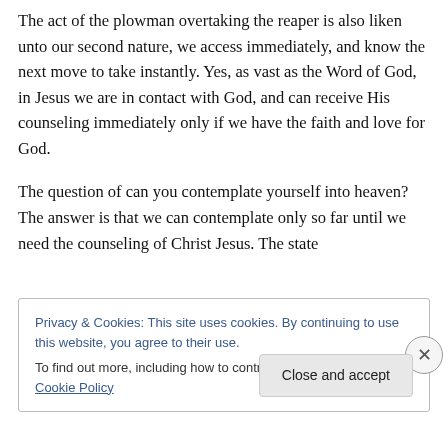The act of the plowman overtaking the reaper is also liken unto our second nature, we access immediately, and know the next move to take instantly. Yes, as vast as the Word of God, in Jesus we are in contact with God, and can receive His counseling immediately only if we have the faith and love for God.
The question of can you contemplate yourself into heaven? The answer is that we can contemplate only so far until we need the counseling of Christ Jesus. The state
Privacy & Cookies: This site uses cookies. By continuing to use this website, you agree to their use.
To find out more, including how to control cookies, see here: Cookie Policy